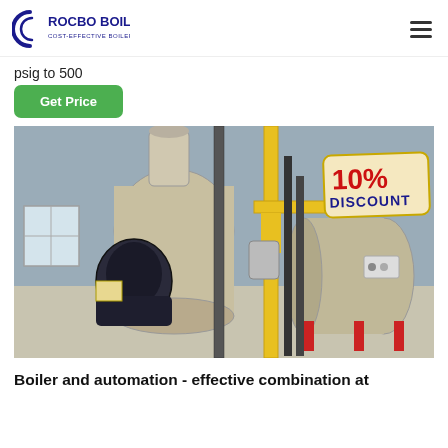ROCBO BOILER - COST-EFFECTIVE BOILER SUPPLIER
psig to 500
Get Price
[Figure (photo): Industrial boiler equipment in a factory setting showing two large boilers with piping, burners, and a 10% DISCOUNT badge visible in the upper right corner.]
Boiler and automation - effective combination at